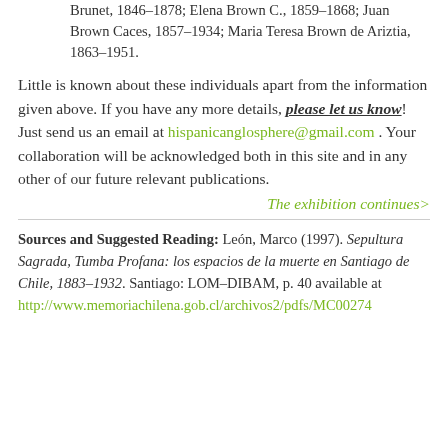Brunet, 1846–1878; Elena Brown C., 1859–1868; Juan Brown Caces, 1857–1934; Maria Teresa Brown de Ariztia, 1863–1951.
Little is known about these individuals apart from the information given above. If you have any more details, please let us know! Just send us an email at hispanicanglosphere@gmail.com . Your collaboration will be acknowledged both in this site and in any other of our future relevant publications.
The exhibition continues>
Sources and Suggested Reading: León, Marco (1997). Sepultura Sagrada, Tumba Profana: los espacios de la muerte en Santiago de Chile, 1883–1932. Santiago: LOM–DIBAM, p. 40 available at http://www.memoriachilena.gob.cl/archivos2/pdfs/MC0027...